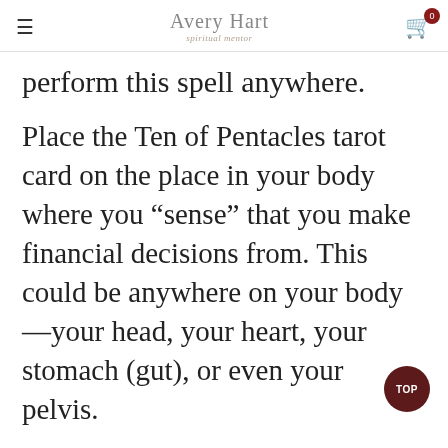≡  Avery Hart  [cart] 0
perform this spell anywhere.
Place the Ten of Pentacles tarot card on the place in your body where you “sense” that you make financial decisions from. This could be anywhere on your body—your head, your heart, your stomach (gut), or even your pelvis.
If you’re not sure, spend a minute or two pondering your next big financial decision and notice where you feel any kind of